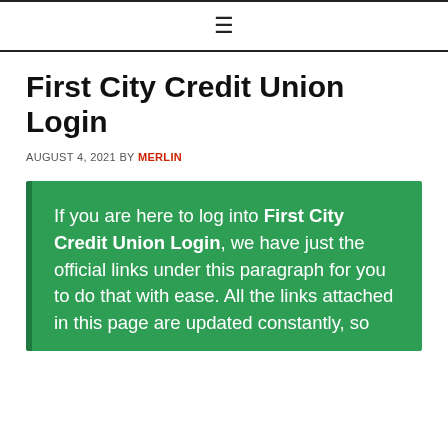≡
First City Credit Union Login
AUGUST 4, 2021 BY MERLIN
If you are here to log into First City Credit Union Login, we have just the official links under this paragraph for you to do that with ease. All the links attached in this page are updated constantly, so